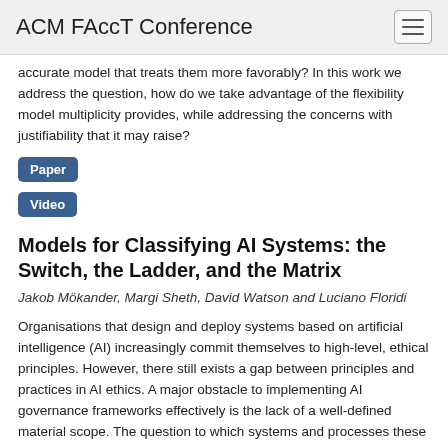ACM FAccT Conference
accurate model that treats them more favorably? In this work we address the question, how do we take advantage of the flexibility model multiplicity provides, while addressing the concerns with justifiability that it may raise?
Paper
Video
Models for Classifying AI Systems: the Switch, the Ladder, and the Matrix
Jakob Mökander, Margi Sheth, David Watson and Luciano Floridi
Organisations that design and deploy systems based on artificial intelligence (AI) increasingly commit themselves to high-level, ethical principles. However, there still exists a gap between principles and practices in AI ethics. A major obstacle to implementing AI governance frameworks effectively is the lack of a well-defined material scope. The question to which systems and processes these additional layers of governance ought to apply remains unanswered. Of course, there is no single answer